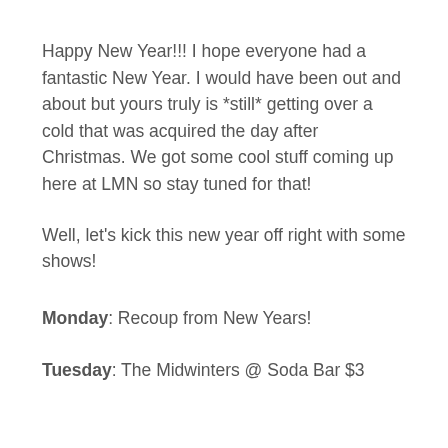Happy New Year!!! I hope everyone had a fantastic New Year. I would have been out and about but yours truly is *still* getting over a cold that was acquired the day after Christmas. We got some cool stuff coming up here at LMN so stay tuned for that!
Well, let's kick this new year off right with some shows!
Monday: Recoup from New Years!
Tuesday: The Midwinters @ Soda Bar $3